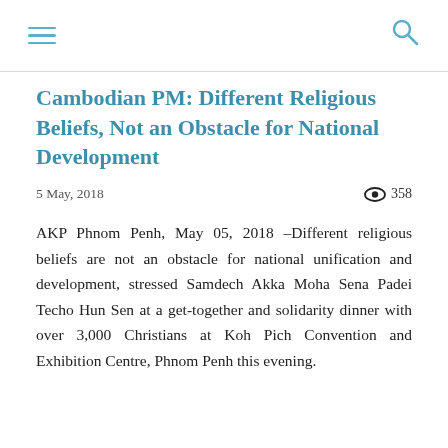Navigation menu and search icon
Cambodian PM: Different Religious Beliefs, Not an Obstacle for National Development
5 May, 2018   358
AKP Phnom Penh, May 05, 2018 –Different religious beliefs are not an obstacle for national unification and development, stressed Samdech Akka Moha Sena Padei Techo Hun Sen at a get-together and solidarity dinner with over 3,000 Christians at Koh Pich Convention and Exhibition Centre, Phnom Penh this evening.